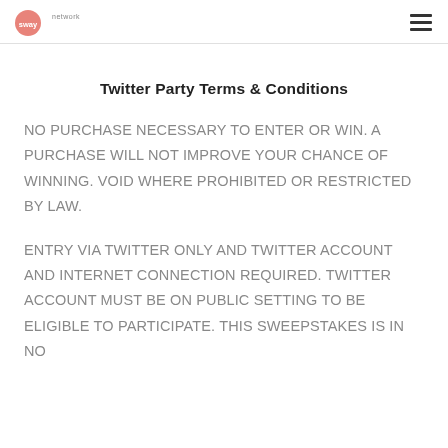swaynetwork [logo] [hamburger menu]
Twitter Party Terms & Conditions
NO PURCHASE NECESSARY TO ENTER OR WIN. A PURCHASE WILL NOT IMPROVE YOUR CHANCE OF WINNING. VOID WHERE PROHIBITED OR RESTRICTED BY LAW.
ENTRY VIA TWITTER ONLY AND TWITTER ACCOUNT AND INTERNET CONNECTION REQUIRED. TWITTER ACCOUNT MUST BE ON PUBLIC SETTING TO BE ELIGIBLE TO PARTICIPATE. THIS SWEEPSTAKES IS IN NO